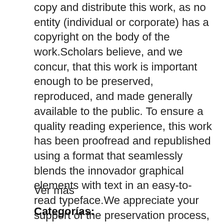copy and distribute this work, as no entity (individual or corporate) has a copyright on the body of the work.Scholars believe, and we concur, that this work is important enough to be preserved, reproduced, and made generally available to the public. To ensure a quality reading experience, this work has been proofread and republished using a format that seamlessly blends the innovador graphical elements with text in an easy-to-read typeface.We appreciate your support of the preservation process, and thank you for being an important part of keeping this knowledge alive and relevant.,
Ver más
Categorías: